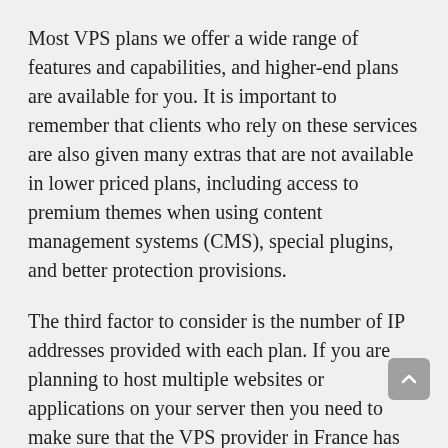Most VPS plans we offer a wide range of features and capabilities, and higher-end plans are available for you. It is important to remember that clients who rely on these services are also given many extras that are not available in lower priced plans, including access to premium themes when using content management systems (CMS), special plugins, and better protection provisions.
The third factor to consider is the number of IP addresses provided with each plan. If you are planning to host multiple websites or applications on your server then you need to make sure that the VPS provider in France has enough IPs available for you.
The fourth factor to consider is the location of the data centre where your VPS will be hosted. You want to choose a data centre that is close to your clients or customers. In this way, you will be able to deliver faster